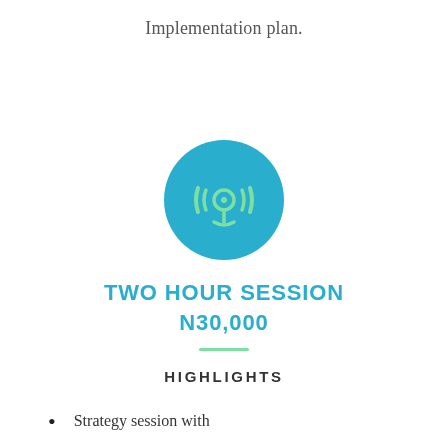Implementation plan.
[Figure (illustration): Blue circle with a green podcast/broadcast icon in the center]
TWO HOUR SESSION
N30,000
HIGHLIGHTS
Strategy session with